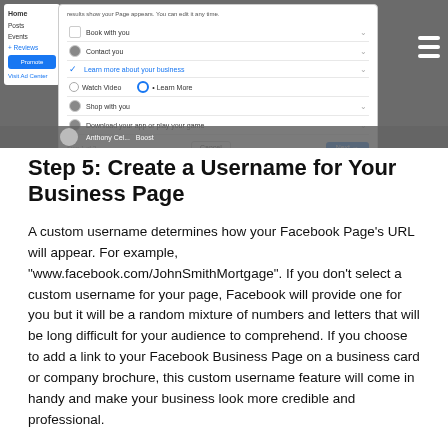[Figure (screenshot): Screenshot of a Facebook Page setup dialog showing options like 'Book with you', 'Contact you', 'Learn more about your business' (selected/checked), radio buttons for 'Watch Video' and 'Learn More', 'Shop with you', and 'Download your app or play your game'. A sidebar on the left shows navigation links (Home, Posts, Events, Reviews, Promote button, Visit Ad Center). A hamburger menu icon appears on the right. Cancel and Next buttons are in the dialog footer. A dark bottom bar shows a profile avatar, name 'Anthony Cel...' and a 'Boost' button.]
Step 5: Create a Username for Your Business Page
A custom username determines how your Facebook Page's URL will appear. For example, "www.facebook.com/JohnSmithMortgage". If you don't select a custom username for your page, Facebook will provide one for you but it will be a random mixture of numbers and letters that will be long difficult for your audience to comprehend. If you choose to add a link to your Facebook Business Page on a business card or company brochure, this custom username feature will come in handy and make your business look more credible and professional.